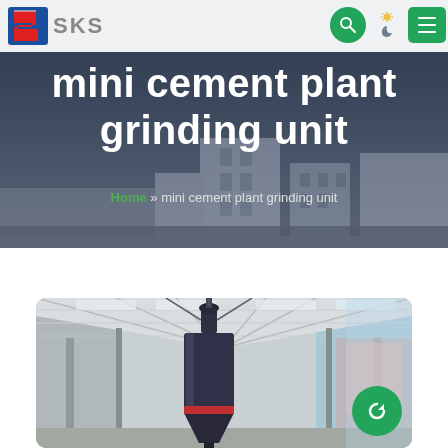[Figure (logo): SKS company logo with red/blue angular S icon and grey SKS text]
mini cement plant grinding unit
Home » mini cement plant grinding unit
[Figure (photo): Interior of an industrial facility showing a large dark cement grinding mill/tank suspended from roof structure with metal trusses and natural light from windows]